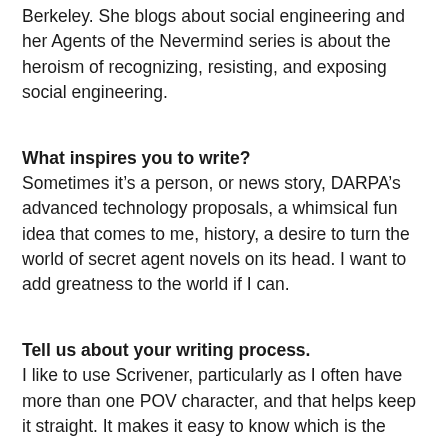Berkeley. She blogs about social engineering and her Agents of the Nevermind series is about the heroism of recognizing, resisting, and exposing social engineering.
What inspires you to write?
Sometimes it’s a person, or news story, DARPA’s advanced technology proposals, a whimsical fun idea that comes to me, history, a desire to turn the world of secret agent novels on its head. I want to add greatness to the world if I can.
Tell us about your writing process.
I like to use Scrivener, particularly as I often have more than one POV character, and that helps keep it straight. It makes it easy to know which is the